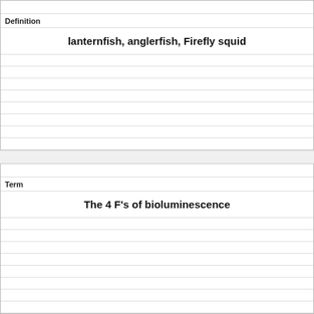| Definition | lanternfish, anglerfish, Firefly squid |
|  |  |
|  |  |
| Term | The 4 F's of bioluminescence |
|  |  |
|  |  |